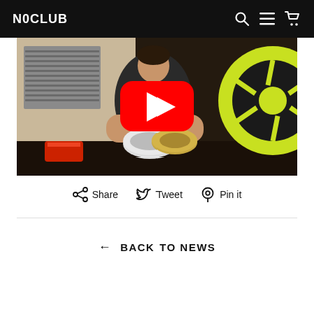N0CLUB
[Figure (screenshot): YouTube video thumbnail showing a person at a table holding rolls of tape, with a yellow/lime green car wheel visible on the right side. A red YouTube play button is overlaid in the center of the image.]
Share   Tweet   Pin it
← BACK TO NEWS